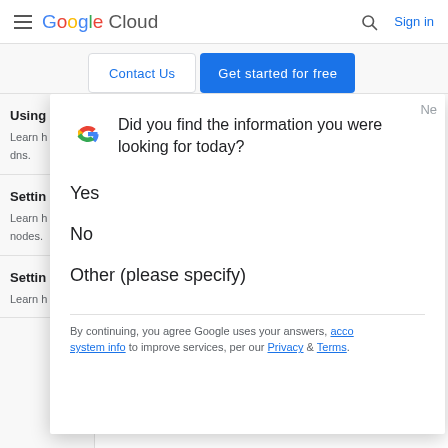Google Cloud   Sign in
Contact Us   Get started for free
Using
Learn h
dns.
Settin
Learn h
nodes.
Settin
Learn h
[Figure (screenshot): Google feedback popup dialog with Google G logo asking 'Did you find the information you were looking for today?' with options: Yes, No, Other (please specify). Footer text: By continuing, you agree Google uses your answers, acco... system info to improve services, per our Privacy & Terms.]
Did you find the information you were looking for today?
Yes
No
Other (please specify)
By continuing, you agree Google uses your answers, acco... system info to improve services, per our Privacy & Terms.